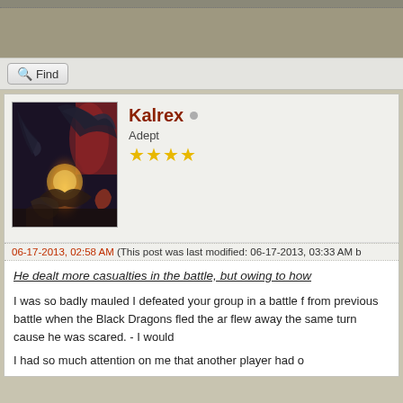[Figure (screenshot): Forum post page showing user Kalrex with avatar (fantasy dragon/wizard illustration), Adept rank, 4 gold stars, and post content about a battle game]
Find
Kalrex  Adept ★★★★
06-17-2013, 02:58 AM (This post was last modified: 06-17-2013, 03:33 AM b
He dealt more casualties in the battle, but owing to how
I was so badly mauled I defeated your group in a battle f from previous battle when the Black Dragons fled the ar flew away the same turn cause he was scared. - I would
I had so much attention on me that another player had o